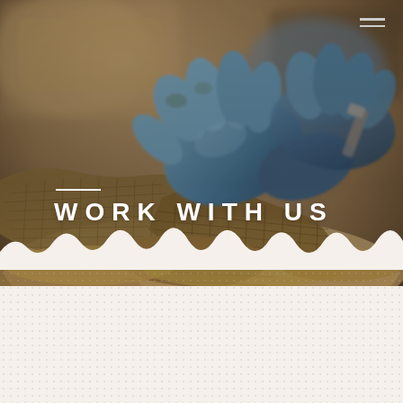[Figure (photo): Close-up photo of gloved hands (blue latex gloves) handling burlap sacks filled with fine granular material (sand or grain), with a warm sepia-toned industrial background. Text overlay reads 'WORK WITH US' in white uppercase letters with a horizontal line above.]
WORK WITH US